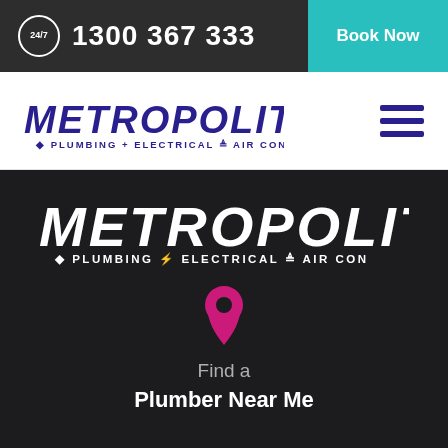24/7  1300 367 333  Book Now
[Figure (logo): Metropolitan Plumbing + Electrical = Air Con logo in blue/navy, with italic bold text]
[Figure (logo): Metropolitan Plumbing + Electrical = Air Con logo in white on dark background]
Find a
Plumber Near Me